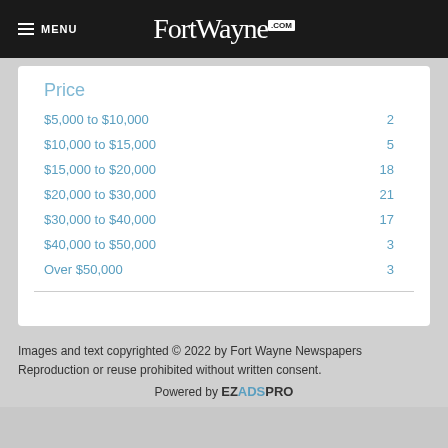MENU | FortWayne.com
Price
|  |  |
| --- | --- |
| $5,000 to $10,000 | 2 |
| $10,000 to $15,000 | 5 |
| $15,000 to $20,000 | 18 |
| $20,000 to $30,000 | 21 |
| $30,000 to $40,000 | 17 |
| $40,000 to $50,000 | 3 |
| Over $50,000 | 3 |
Images and text copyrighted © 2022 by Fort Wayne Newspapers
Reproduction or reuse prohibited without written consent.
Powered by EZADSPRO